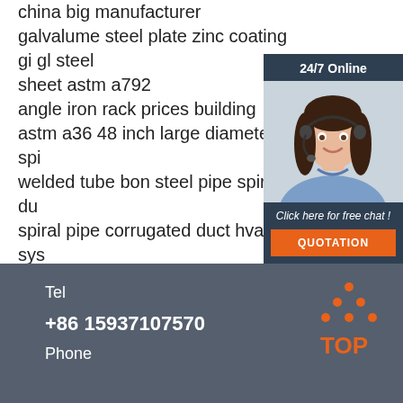china big manufacturer galvalume steel plate zinc coating gi gl steel sheet astm a792 angle iron rack prices building astm a36 48 inch large diameter spiral welded tube bon steel pipe spiral duct spiral pipe corrugated duct hvac sys 2507uns s32750 super duplex stainless steel seamless pipe tube
[Figure (other): Chat widget with a woman wearing a headset, dark blue background, '24/7 Online' label, 'Click here for free chat!' text, and an orange QUOTATION button]
Tel +86 15937107570 Phone
[Figure (other): Orange TOP icon with dots arranged in a triangle above the word TOP]